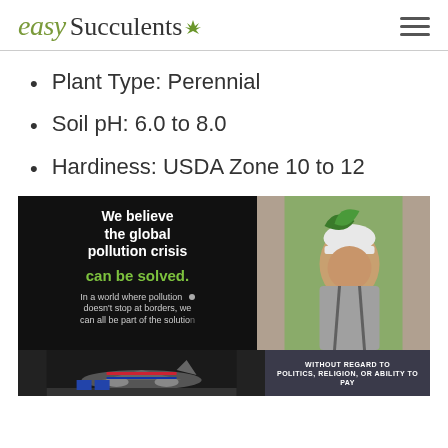easy Succulents
Plant Type: Perennial
Soil pH: 6.0 to 8.0
Hardiness: USDA Zone 10 to 12
[Figure (screenshot): Advertisement banner: 'We believe the global pollution crisis can be solved.' with image of person in hard hat planting a tree. Below: airplane cargo image and 'WITHOUT REGARD TO POLITICS, RELIGION, OR ABILITY TO PAY' text.]